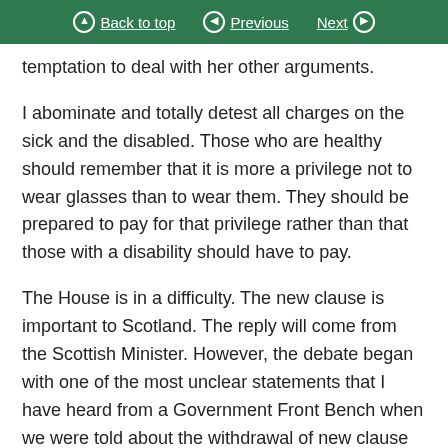Back to top | Previous | Next
temptation to deal with her other arguments.
I abominate and totally detest all charges on the sick and the disabled. Those who are healthy should remember that it is more a privilege not to wear glasses than to wear them. They should be prepared to pay for that privilege rather than that those with a disability should have to pay.
The House is in a difficulty. The new clause is important to Scotland. The reply will come from the Scottish Minister. However, the debate began with one of the most unclear statements that I have heard from a Government Front Bench when we were told about the withdrawal of new clause 1. I echo the sentiments of the hon. Member for